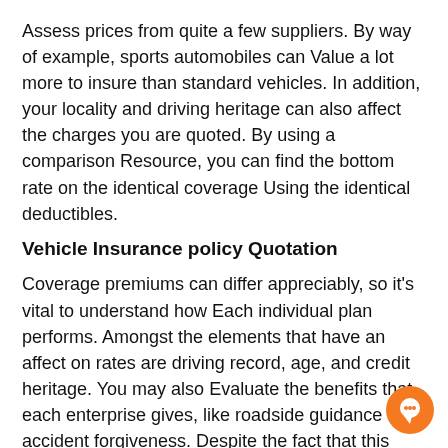Assess prices from quite a few suppliers. By way of example, sports automobiles can Value a lot more to insure than standard vehicles. In addition, your locality and driving heritage can also affect the charges you are quoted. By using a comparison Resource, you can find the bottom rate on the identical coverage Using the identical deductibles.
Vehicle Insurance policy Quotation
Coverage premiums can differ appreciably, so it’s vital to understand how Each individual plan performs. Amongst the elements that have an affect on rates are driving record, age, and credit heritage. You may also Evaluate the benefits that each enterprise gives, like roadside guidance or accident forgiveness. Despite the fact that this could seem like a daunting process, it may also help to match quotes from different companies and pick the proper one particular. Stated below are some suggestions to get you started.
Scores
[Figure (illustration): Orange circular chat bubble icon in the bottom-right corner]